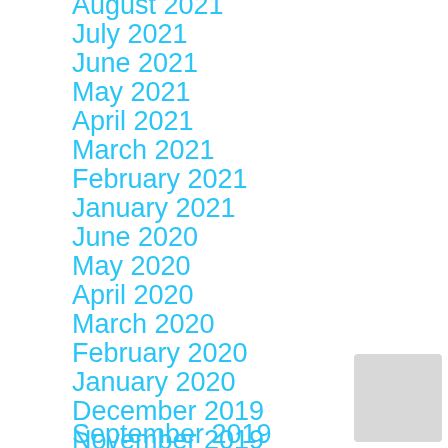August 2021
July 2021
June 2021
May 2021
April 2021
March 2021
February 2021
January 2021
June 2020
May 2020
April 2020
March 2020
February 2020
January 2020
December 2019
November 2019
October 2019
September 2019